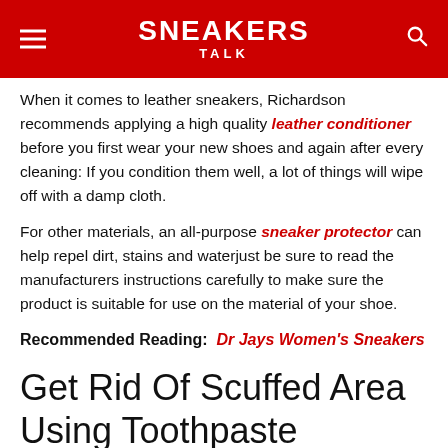SNEAKERS TALK
When it comes to leather sneakers, Richardson recommends applying a high quality leather conditioner before you first wear your new shoes and again after every cleaning: If you condition them well, a lot of things will wipe off with a damp cloth.
For other materials, an all-purpose sneaker protector can help repel dirt, stains and waterjust be sure to read the manufacturers instructions carefully to make sure the product is suitable for use on the material of your shoe.
Recommended Reading: Dr Jays Women's Sneakers
Get Rid Of Scuffed Area Using Toothpaste
Although not advertised, toothpaste acts as a Swiss army knife for